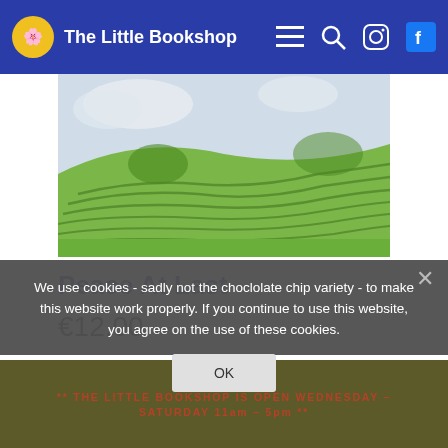The Little Bookshop
[Figure (illustration): Book cover illustration showing green terraced hills with wavy contour lines against a light sky background]
Peace At Last
€12.00
ADD TO BASKET
We use cookies - sadly not the choclolate chip variety - to make this website work properly. If you continue to use this website, you agree on the use of these cookies.
OK
** THE LITTLE BOOKSHOP IS OPEN WEDNESDAY – SATURDAY 11am – 5pm **